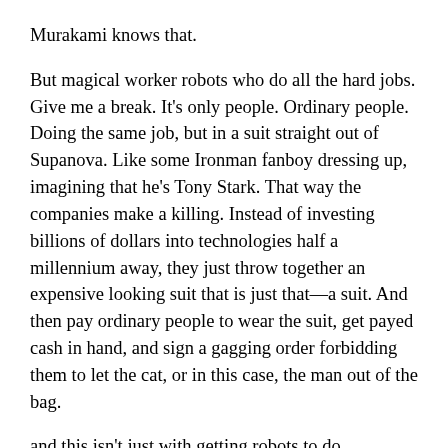Murakami knows that.
But magical worker robots who do all the hard jobs. Give me a break. It's only people. Ordinary people. Doing the same job, but in a suit straight out of Supanova. Like some Ironman fanboy dressing up, imagining that he's Tony Stark. That way the companies make a killing. Instead of investing billions of dollars into technologies half a millennium away, they just throw together an expensive looking suit that is just that—a suit. And then pay ordinary people to wear the suit, get payed cash in hand, and sign a gagging order forbidding them to let the cat, or in this case, the man out of the bag.
and this isn't just with getting robots to do...